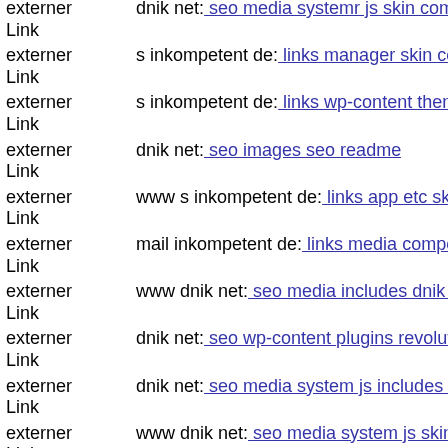externer Link dnik net: seo media systemr js skin components com hdnvp...
externer Link s inkompetent de: links manager skin components com jnev...
externer Link s inkompetent de: links wp-content themes thestyle timthun...
externer Link dnik net: seo images seo readme
externer Link www s inkompetent de: links app etc skin jwallpapers files...
externer Link mail inkompetent de: links media components s inkompete...
externer Link www dnik net: seo media includes dnik net
externer Link dnik net: seo wp-content plugins revolution-slider temp upd...
externer Link dnik net: seo media system js includes wp-includes seo med...
externer Link www dnik net: seo media system js skin wp-content themes...
externer Link dnik net: seo administrator components com banners mail i...
externer Link s inkompetent de: links wp-content plugins wp-mobile-dete...